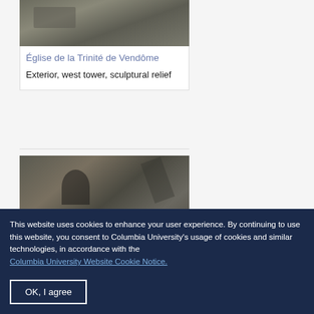[Figure (photo): Stone architectural sculpture detail, exterior of Église de la Trinité de Vendôme]
Église de la Trinité de Vendôme
Exterior, west tower, sculptural relief
[Figure (photo): Stone masonry of Gothic church exterior, showing carved details on west tower]
This website uses cookies to enhance your user experience. By continuing to use this website, you consent to Columbia University's usage of cookies and similar technologies, in accordance with the Columbia University Website Cookie Notice.
OK, I agree